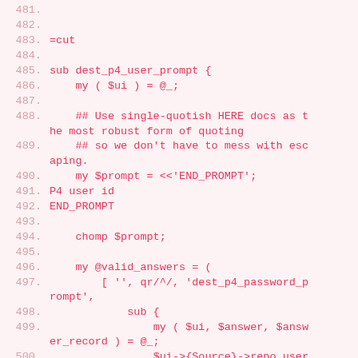481.
482.
483. =cut
484.
485. sub dest_p4_user_prompt {
486.     my ( $ui ) = @_;
487.
488.     ## Use single-quotish HERE docs as the most robust form of quoting
489.     ## so we don't have to mess with escaping.
490.     my $prompt = <<'END_PROMPT';
491. P4 user id
492. END_PROMPT
493.
494.     chomp $prompt;
495.
496.     my @valid_answers = (
497.         [ '', qr/^/, 'dest_p4_password_prompt',
498.             sub {
499.                 my ( $ui, $answer, $answer_record ) = @_;
500.                 $ui->{Source}->repo_user( $answer )